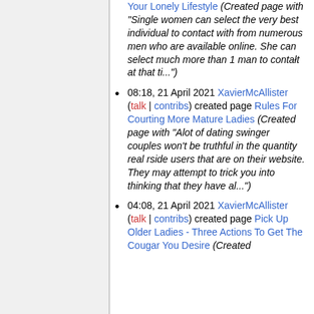(Created page with "Single women can select the very best individual to contact with from numerous men who are available online. She can select much more than 1 man to contact at that ti...")
08:18, 21 April 2021 XavierMcAllister (talk | contribs) created page Rules For Courting More Mature Ladies (Created page with "Alot of dating swinger couples won't be truthful in the quantity real r‌side users that are on their website. They may attempt to trick you into thinking that they have al...")
04:08, 21 April 2021 XavierMcAllister (talk | contribs) created page Pick Up Older Ladies - Three Actions To Get The Cougar You Desire (Created